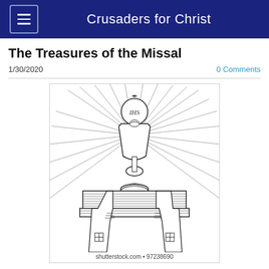Crusaders for Christ
The Treasures of the Missal
1/30/2020
0 Comments
[Figure (illustration): Black and white line drawing of a Catholic chalice with IHS monogram host on top, sitting on a missal/book, surrounded by radiating light rays, with two stoles draped over the book bearing cross symbols, decorative style.]
shutterstock.com • 97238690